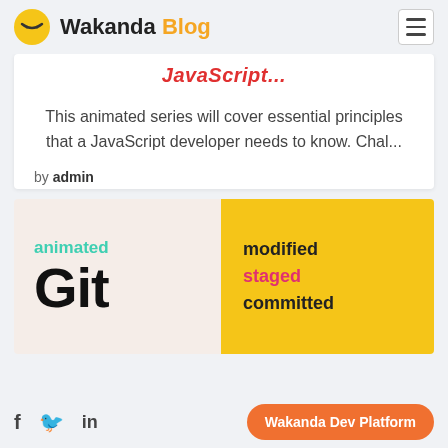Wakanda Blog
JavaScript...
This animated series will cover essential principles that a JavaScript developer needs to know. Chal...
by admin
[Figure (illustration): Animated Git blog card showing 'animated Git' on a beige/cream background on the left and 'modified staged committed' on a yellow background on the right]
f  in  Wakanda Dev Platform